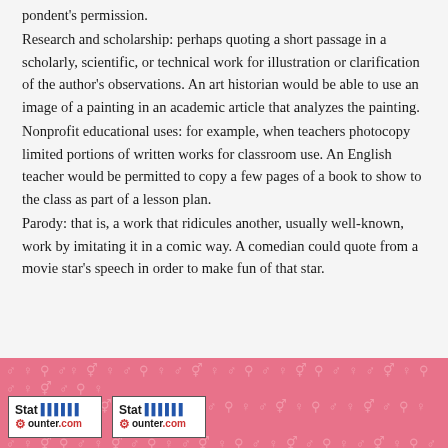pondent's permission.
Research and scholarship: perhaps quoting a short passage in a scholarly, scientific, or technical work for illustration or clarification of the author's observations. An art historian would be able to use an image of a painting in an academic article that analyzes the painting.
Nonprofit educational uses: for example, when teachers photocopy limited portions of written works for classroom use. An English teacher would be permitted to copy a few pages of a book to show to the class as part of a lesson plan.
Parody: that is, a work that ridicules another, usually well-known, work by imitating it in a comic way. A comedian could quote from a movie star's speech in order to make fun of that star.
[Figure (other): Pink/red decorative footer background with repeating gender symbol icons (male, female, combined) in a lighter pink tone, with two StatCounter web analytics badge logos overlaid in the bottom-left corner.]